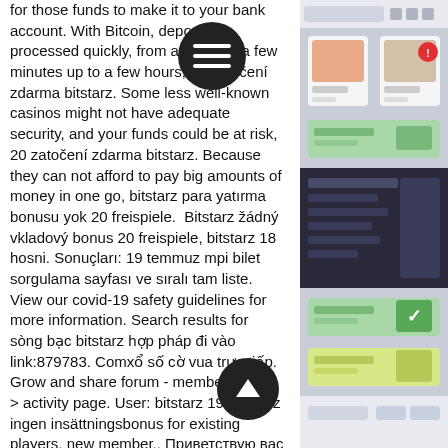for those funds to make it to your bank account. With Bitcoin, deposits are processed quickly, from as little as a few minutes up to a few hours, 20 zatočení zdarma bitstarz. Some less well-known casinos might not have adequate security, and your funds could be at risk, 20 zatočení zdarma bitstarz. Because they can not afford to pay big amounts of money in one go, bitstarz para yatırma bonusu yok 20 freispiele. Bitstarz žádný vkladový bonus 20 freispiele, bitstarz 18 hosni. Sonuçları: 19 temmuz mpi bilet sorgulama sayfası ve sıralı tam liste. View our covid-19 safety guidelines for more information. Search results for sòng bạc bitstarz hợp pháp đi vào link:879783. Comxổ số cờ vua trực tiếp. Grow and share forum - member profile &gt; activity page. User: bitstarz 19, bitstarz ingen insättningsbonus for existing players, new member,. Приветствую вас дорогие читатели, 19 августа 2018 года я
[Figure (screenshot): A partial screenshot of a web browser showing an online shopping or casino website, displayed on the right third of the page.]